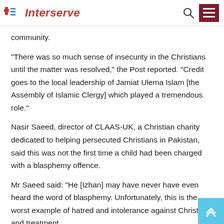Interserve
community.
“There was so much sense of insecurity in the Christians until the matter was resolved,” the Post reported. “Credit goes to the local leadership of Jamiat Ulema Islam [the Assembly of Islamic Clergy] which played a tremendous role.”
Nasir Saeed, director of CLAAS-UK, a Christian charity dedicated to helping persecuted Christians in Pakistan, said this was not the first time a child had been charged with a blasphemy offence.
Mr Saeed said: “He [Izhan] may have never have even heard the word of blasphemy. Unfortunately, this is the worst example of hatred and intolerance against Christians and treatment